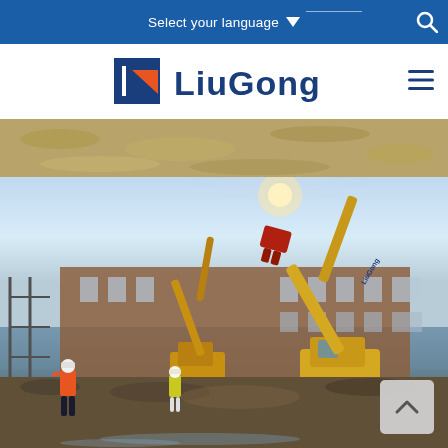Select your language ▼
[Figure (logo): LiuGong logo — stylized 'LG' bracket icon in dark blue with orange triangle, followed by bold dark blue text 'LiuGong']
[Figure (photo): Construction demolition site showing a large yellow LiuGong excavator with a demolition attachment (shear/crusher) tearing down a brick industrial building. A second excavator is visible in the background left. Two workers in high-visibility vests and hard hats are in the foreground. Rubble, twisted metal and debris are scattered on the ground. Clear sunny sky in background.]